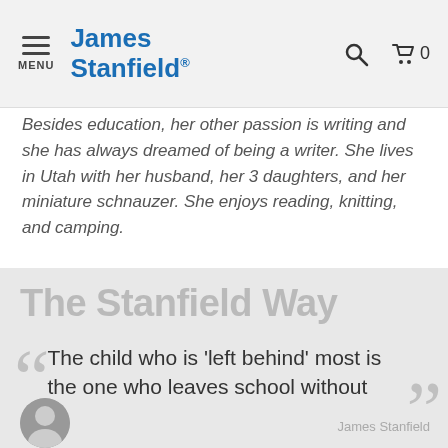James Stanfield® — MENU
Besides education, her other passion is writing and she has always dreamed of being a writer. She lives in Utah with her husband, her 3 daughters, and her miniature schnauzer. She enjoys reading, knitting, and camping.
The Stanfield Way
The child who is 'left behind' most is the one who leaves school without transition readiness.